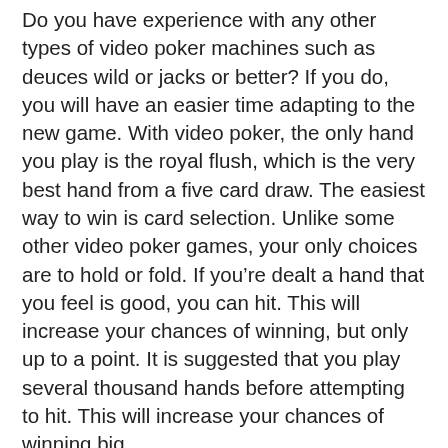Do you have experience with any other types of video poker machines such as deuces wild or jacks or better? If you do, you will have an easier time adapting to the new game. With video poker, the only hand you play is the royal flush, which is the very best hand from a five card draw. The easiest way to win is card selection. Unlike some other video poker games, your only choices are to hold or fold. If you're dealt a hand that you feel is good, you can hit. This will increase your chances of winning, but only up to a point. It is suggested that you play several thousand hands before attempting to hit. This will increase your chances of winning big. If you are new to the game of video poker, you may want to play several thousand hands before trying to hit. Most video poker games are looser than jacks or better, which means you can usually raise your bet when you're dealt a good hand. It's helpful when you are